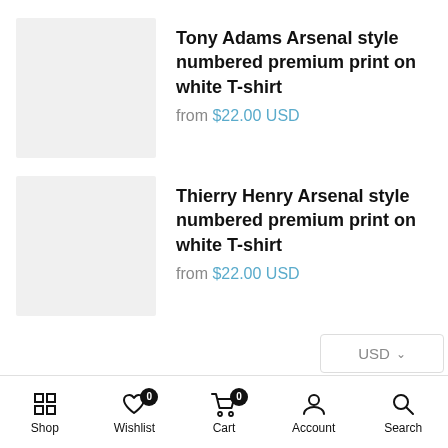[Figure (other): Product thumbnail placeholder image (light gray square) for Tony Adams Arsenal T-shirt]
Tony Adams Arsenal style numbered premium print on white T-shirt
from $22.00 USD
[Figure (other): Product thumbnail placeholder image (light gray square) for Thierry Henry Arsenal T-shirt]
Thierry Henry Arsenal style numbered premium print on white T-shirt
from $22.00 USD
USD
Pdi Sports Instagram
[Figure (other): Loading spinner (infinity loop icon in blue)]
Shop | Wishlist 0 | Cart 0 | Account | Search